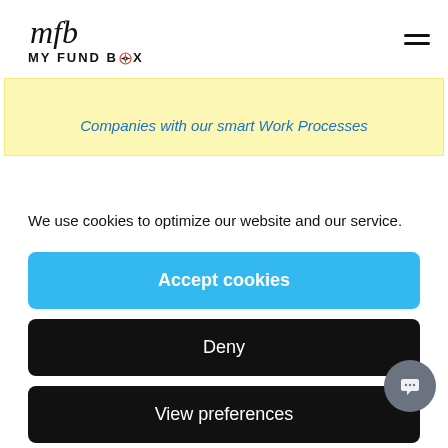[Figure (logo): My Fund Box logo with cursive mfb icon above bold text MY FUND BOX with a decorative compass-like icon replacing the O in BOX]
Companies with our smart Work Processes
We use cookies to optimize our website and our service.
Accept cookies
Deny
View preferences
Cookie Policy   privacy policy   Imprint